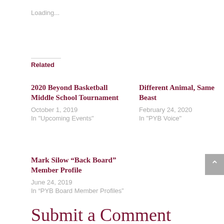Loading...
Related
2020 Beyond Basketball Middle School Tournament
October 1, 2019
In "Upcoming Events"
Different Animal, Same Beast
February 24, 2020
In "PYB Voice"
Mark Silow “Back Board” Member Profile
June 24, 2019
In “PYB Board Member Profiles”
Submit a Comment